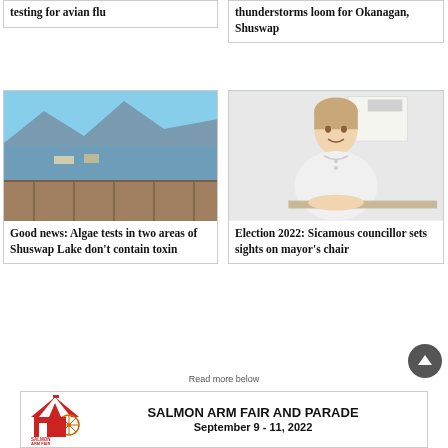testing for avian flu
thunderstorms loom for Okanagan, Shuswap
[Figure (photo): A wooden dock/pier at a lake with mountains and blue sky in the background, boats moored at the marina.]
Good news: Algae tests in two areas of Shuswap Lake don’t contain toxin
[Figure (photo): A smiling woman in a white polo shirt seated at a desk in an office setting.]
Election 2022: Sicamous councillor sets sights on mayor’s chair
Read more below
[Figure (infographic): Advertisement banner for Salmon Arm Fair and Parade, September 9 - 11, 2022, with Salmon Arm Fair logo on the left.]